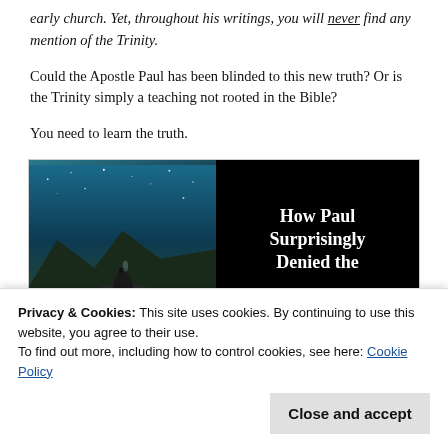early church. Yet, throughout his writings, you will never find any mention of the Trinity.
Could the Apostle Paul has been blinded to this new truth? Or is the Trinity simply a teaching not rooted in the Bible?
You need to learn the truth.
[Figure (photo): Split image: left side shows a person sitting on a rock under a night/teal sky; right side is black with bold white serif text reading 'How Paul Surprisingly Denied the']
Privacy & Cookies: This site uses cookies. By continuing to use this website, you agree to their use.
To find out more, including how to control cookies, see here: Cookie Policy